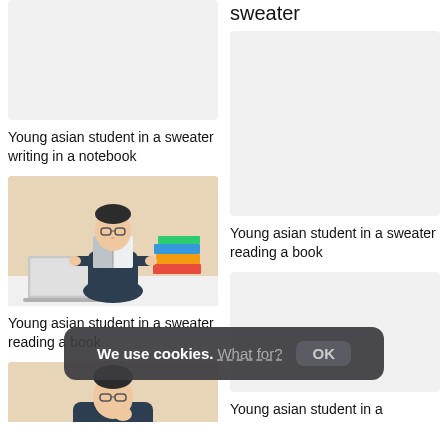[Figure (photo): Placeholder image for young asian student in a sweater writing in a notebook (top left, partially visible)]
Young asian student in a sweater writing in a notebook
[Figure (photo): Photo of young asian student in a sweater reading a book at a desk with laptop and stack of books]
Young asian student in a sweater reading a book
[Figure (photo): Partial view of another photo at bottom left]
Young asian student in a sweater (partial, cut off at top)
[Figure (photo): Placeholder image for young asian student in a sweater reading a book (right column, second)]
Young asian student in a sweater reading a book
[Figure (photo): Placeholder image (right column, third, partially visible)]
Young asian student in a
We use cookies. What for? OK